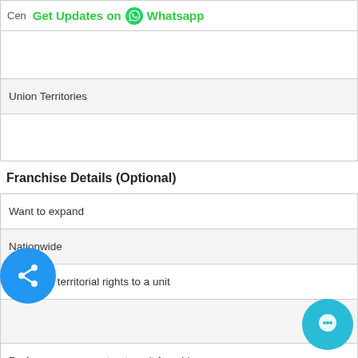Cen  Get Updates on  Whatsapp
|  |
| Union Territories |
|  |
Franchise Details (Optional)
| Want to expand |
| Nationwide |
| Exclusive territorial rights to a unit |
|  |
| Performance guarantee to unit franchisee |
|  |